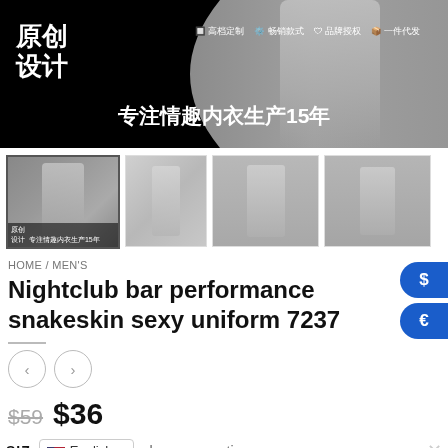[Figure (photo): E-commerce product banner with Chinese text '原创设计' and '专注情趣内衣生产15年' on black background with male model wearing underwear]
[Figure (photo): Four product thumbnail images showing male model wearing silver/metallic snakeskin briefs from different angles]
HOME / MEN'S
Nightclub bar performance snakeskin sexy uniform 7237
[Figure (other): Previous and next navigation arrow buttons (left and right chevrons)]
$59  $36
SIZ  English ▾  choose an option  ×